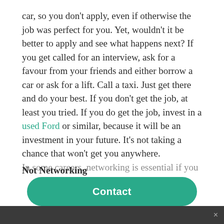car, so you don't apply, even if otherwise the job was perfect for you. Yet, wouldn't it be better to apply and see what happens next? If you get called for an interview, ask for a favour from your friends and either borrow a car or ask for a lift. Call a taxi. Just get there and do your best. If you don't get the job, at least you tried. If you do get the job, invest in a used Ford or similar, because it will be an investment in your future. It's not taking a chance that won't get you anywhere.
Not Networking
In some careers, networking is essential if you
[Figure (other): Green Contact button overlay and dark bottom bar with close X]
×